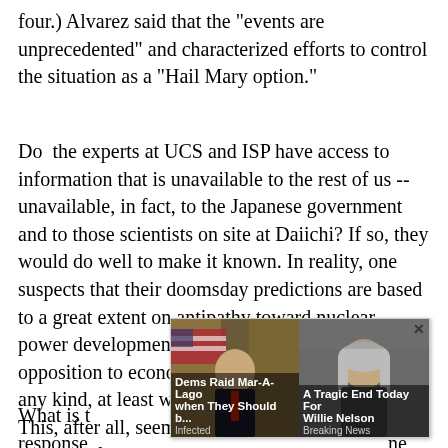four.) Alvarez said that the "events are unprecedented" and characterized efforts to control the situation as a "Hail Mary option."
Do  the experts at UCS and ISP have access to information that is unavailable to the rest of us -- unavailable, in fact, to the Japanese government and to those scientists on site at Daiichi? If so, they would do well to make it known. In reality, one suspects that their doomsday predictions are based to a great extent on antipathy toward nuclear power development and, beyond that, a broader opposition to economic expansion and growth of any kind, at least within the Western democracies. This, after all, seems to be more or less the stated mission of ISP: to oppose American hegemony, to hobble American military power, and to spread the wealth a broad.
[Figure (other): Advertisement overlay with two panels: left panel shows a person with US flag background, labeled 'Dems Raid Mar-A-Lago when They Should b...' with sub-label 'Infected'; right panel shows an elderly person, labeled 'A Tragic End Today For Willie Nelson' with sub-label 'Breaking News'. Close button (×) at top right.]
What is t d the response ne direct...